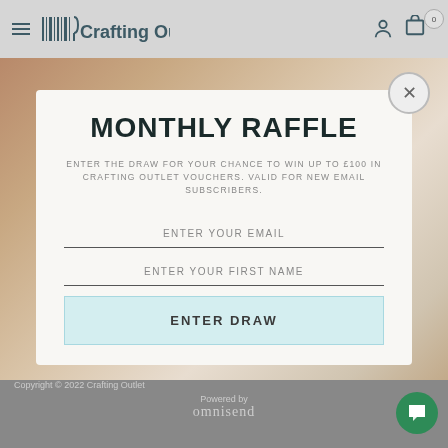Crafting Outlet
MONTHLY RAFFLE
ENTER THE DRAW FOR YOUR CHANCE TO WIN UP TO £100 IN CRAFTING OUTLET VOUCHERS. VALID FOR NEW EMAIL SUBSCRIBERS.
ENTER YOUR EMAIL
ENTER YOUR FIRST NAME
ENTER DRAW
Copyright © 2022 Crafting Outlet
Powered by omnisend